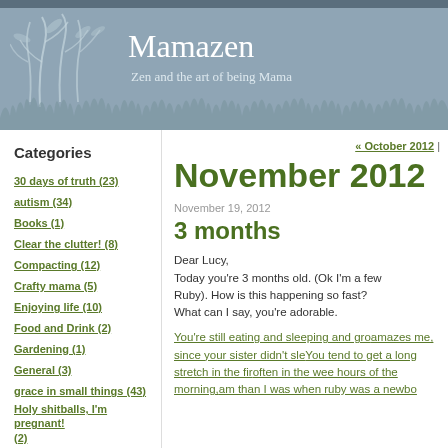Mamazen — Zen and the art of being Mama
Mamazen
Zen and the art of being Mama
Categories
30 days of truth (23)
autism (34)
Books (1)
Clear the clutter! (8)
Compacting (12)
Crafty mama (5)
Enjoying life (10)
Food and Drink (2)
Gardening (1)
General (3)
grace in small things (43)
Holy shitballs, I'm pregnant! (2)
infertility (3)
Knitting (9)
Knitting for love (1)
« October 2012 |
November 2012
November 19, 2012
3 months
Dear Lucy,
Today you're 3 months old. (Ok I'm a few days late, Ruby). How is this happening so fast?
What can I say, you're adorable.
You're still eating and sleeping and growing and it amazes me, since your sister didn't sleep. You tend to get a long stretch in the first part of the night, often in the wee hours of the morning, and I am more rested than I was when ruby was a newborn.